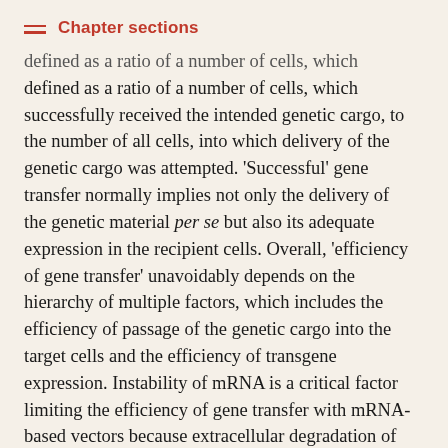Chapter sections
defined as a ratio of a number of cells, which successfully received the intended genetic cargo, to the number of all cells, into which delivery of the genetic cargo was attempted. 'Successful' gene transfer normally implies not only the delivery of the genetic material per se but also its adequate expression in the recipient cells. Overall, 'efficiency of gene transfer' unavoidably depends on the hierarchy of multiple factors, which includes the efficiency of passage of the genetic cargo into the target cells and the efficiency of transgene expression. Instability of mRNA is a critical factor limiting the efficiency of gene transfer with mRNA-based vectors because extracellular degradation of mRNA precludes its entry into the cell and intracellular degradation of mRNA silences expression of mRNA-borne transgenes. Relative